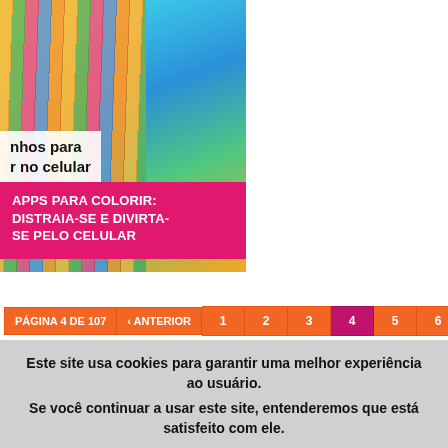[Figure (photo): Colorful image showing colored pencils and a phone displaying a coloring app with tropical birds and flowers, with text overlay 'nhos para r no celular']
APPS PARA COLORIR: DISTRAIA-SE E DIVIRTA-SE PELO CELULAR
PÁGINA 4 DE 107  « ANTERIOR  1  2  3  4  5  6  7  8
Este site usa cookies para garantir uma melhor experiência ao usuário.
Se você continuar a usar este site, entenderemos que está satisfeito com ele.
Saiba mais  Concordar e fechar